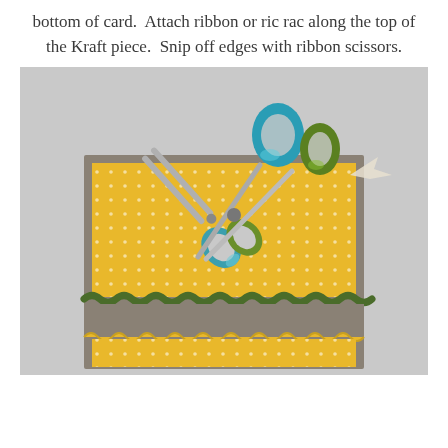bottom of card.  Attach ribbon or ric rac along the top of the Kraft piece.  Snip off edges with ribbon scissors.
[Figure (photo): A crafting photo showing a square greeting card with yellow polka-dot patterned paper on a grey/kraft card base, with green ric rac ribbon trim across the middle. A pair of teal and green-handled ribbon scissors rests on top of the card. The background is light grey.]